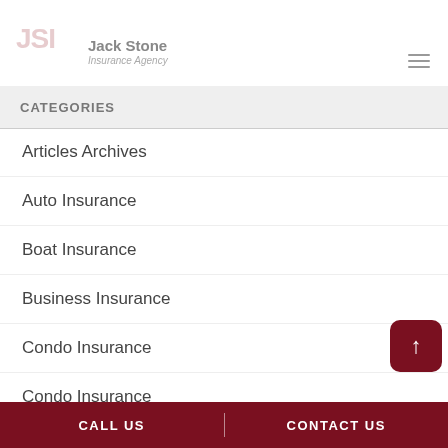[Figure (logo): JSI Jack Stone Insurance Agency logo with hamburger menu icon]
CATEGORIES
Articles Archives
Auto Insurance
Boat Insurance
Business Insurance
Condo Insurance
Condo Insurance
Earthquake Insurance
Flood Insurance
CALL US | CONTACT US